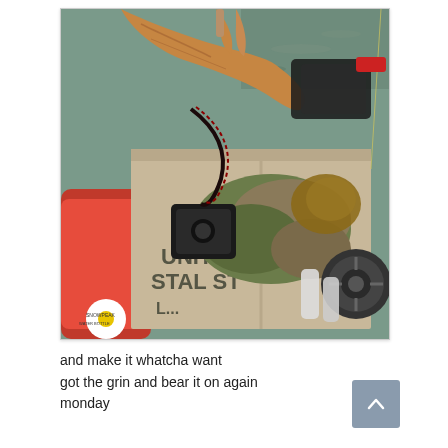[Figure (photo): Overhead photo of a person's hand holding a fishing rod over a wooden boat box labeled 'UNITED POSTAL ST...' containing a fly fishing reel, camouflage clothing, water bottles, and gear. A red kayak is visible on the left, and water in the background.]
and make it whatcha want
got the grin and bear it on again monday